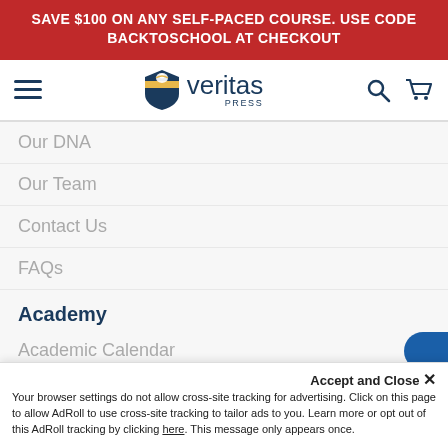SAVE $100 ON ANY SELF-PACED COURSE. USE CODE BACKTOSCHOOL AT CHECKOUT
[Figure (logo): Veritas Press logo with shield icon, hamburger menu, search icon, and cart icon in navigation bar]
Our DNA
Our Team
Contact Us
FAQs
Academy
Academic Calendar
Student Handbook
Online Course Listing
Accept and Close ×
Your browser settings do not allow cross-site tracking for advertising. Click on this page to allow AdRoll to use cross-site tracking to tailor ads to you. Learn more or opt out of this AdRoll tracking by clicking here. This message only appears once.